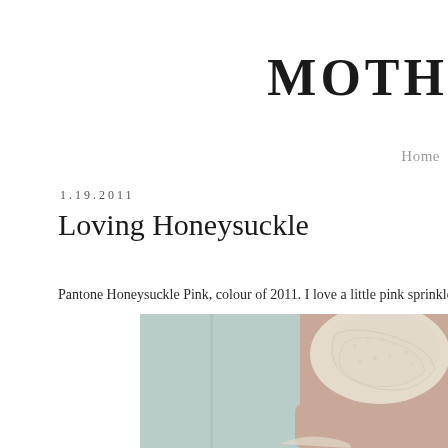MOTH
Home
1.19.2011
Loving Honeysuckle
Pantone Honeysuckle Pink, colour of 2011. I love a little pink sprinkled h
[Figure (photo): A close-up photograph of a person holding or wearing cream/ivory lace fabric, with a pale teal/mint pillow or fabric in the background. A hint of pink is visible.]